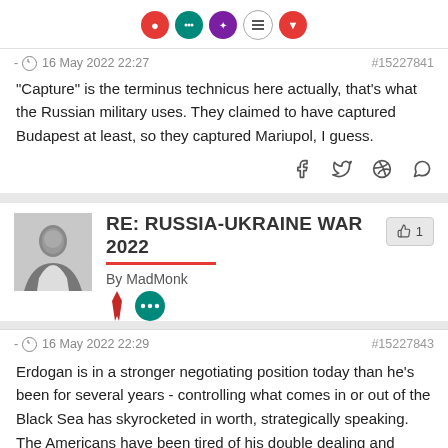[Figure (other): Row of user badge/icon circles (red, teal, purple/dark, list icon, red) at top of first comment card]
- 16 May 2022 22:27   #15227841
"Capture" is the terminus technicus here actually, that's what the Russian military uses. They claimed to have captured Budapest at least, so they captured Mariupol, I guess.
[Figure (other): Share icons row: Facebook, Twitter, Reddit, WhatsApp]
[Figure (other): Second post header: black-and-white avatar photo of a man, with title RE: RUSSIA-UKRAINE WAR 2022, red underline, By MadMonk, like button showing thumbs up and 1, two badge icons (red tie, teal circle with dots)]
- 16 May 2022 22:29   #15227843
Erdogan is in a stronger negotiating position today than he's been for several years - controlling what comes in or out of the Black Sea has skyrocketed in worth, strategically speaking. The Americans have been tired of his double dealing and irrational antics for some time, but now more than ever they will not sacrifice this advantage. The Swedish and Finnish negotiation